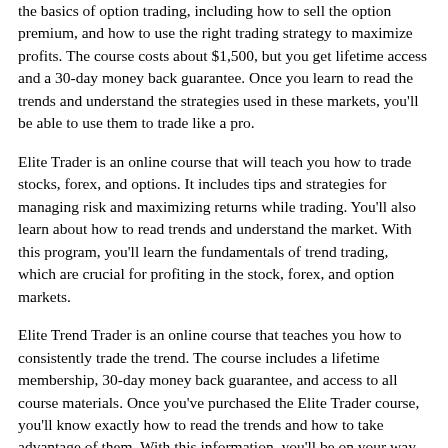the basics of option trading, including how to sell the option premium, and how to use the right trading strategy to maximize profits. The course costs about $1,500, but you get lifetime access and a 30-day money back guarantee. Once you learn to read the trends and understand the strategies used in these markets, you'll be able to use them to trade like a pro.
Elite Trader is an online course that will teach you how to trade stocks, forex, and options. It includes tips and strategies for managing risk and maximizing returns while trading. You'll also learn about how to read trends and understand the market. With this program, you'll learn the fundamentals of trend trading, which are crucial for profiting in the stock, forex, and option markets.
Elite Trend Trader is an online course that teaches you how to consistently trade the trend. The course includes a lifetime membership, 30-day money back guarantee, and access to all course materials. Once you've purchased the Elite Trader course, you'll know exactly how to read the trends and how to take advantage of them. With this information, you'll be on your way to being an elite Trader!
The Elite Trader course helps you learn how to consistently follow the trends in the stock market. You'll learn how to sell the premium of your options. After you complete the course, you'll receive a diploma. If you're not satisfied with the results of the course, you